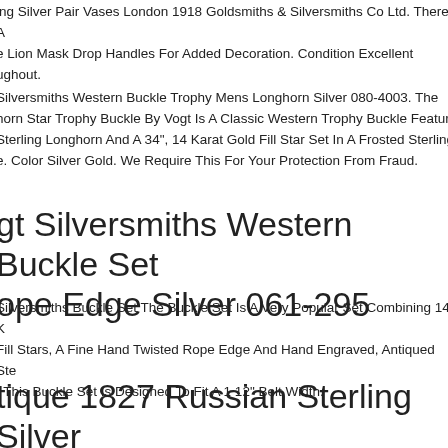ing Silver Pair Vases London 1918 Goldsmiths & Silversmiths Co Ltd. There A e Lion Mask Drop Handles For Added Decoration. Condition Excellent ughout.
Silversmiths Western Buckle Trophy Mens Longhorn Silver 080-4003. The horn Star Trophy Buckle By Vogt Is A Classic Western Trophy Buckle Featuring Sterling Longhorn And A 34", 14 Karat Gold Fill Star Set In A Frosted Sterling e. Color Silver Gold. We Require This For Your Protection From Fraud.
gt Silversmiths Western Buckle Set ope Edge Silver 061-295
Silversmiths Buckle Set The Buckle Set Is A Very Popular Set Combining 14 K Fill Stars, A Fine Hand Twisted Rope Edge And Hand Engraved, Antiqued Ste . This Buckle Set Is Designed To Fit A 1 12" Belt Width.
tique 1827 Russian Sterling Silver on Mosson, look Wil out